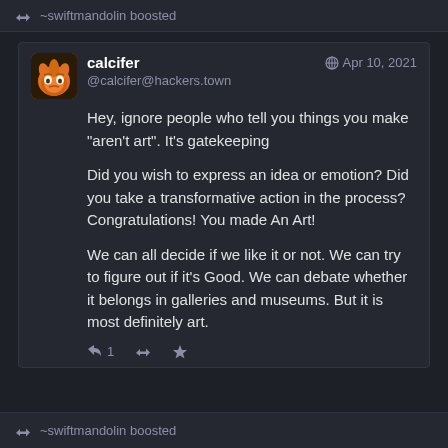~swiftmandolin boosted
calcifer @calcifer@hackers.town Apr 10, 2021
Hey, ignore people who tell you things you make "aren't art". It's gatekeeping

Did you wish to express an idea or emotion? Did you take a transformative action in the process? Congratulations! You made An Art!

We can all decide if we like it or not. We can try to figure out if it's Good. We can debate whether it belongs in galleries and museums. But it is most definitely art.
~swiftmandolin boosted